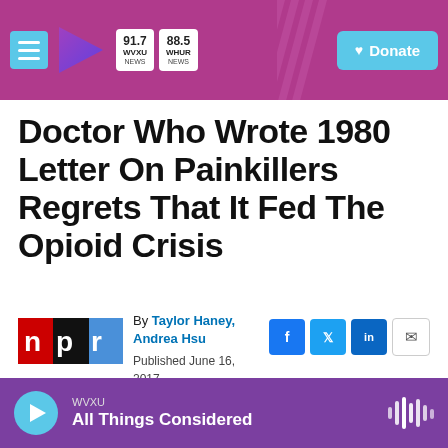91.7 WVXU NEWS | 88.5 WHUR NEWS | Donate
Doctor Who Wrote 1980 Letter On Painkillers Regrets That It Fed The Opioid Crisis
By Taylor Haney, Andrea Hsu
Published June 16, 2017 at 12:22 PM EDT
WVXU
All Things Considered